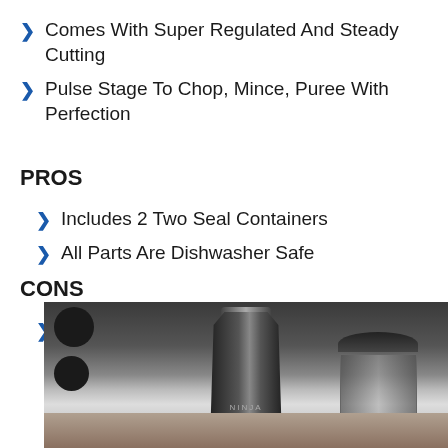Comes With Super Regulated And Steady Cutting
Pulse Stage To Chop, Mince, Puree With Perfection
PROS
Includes 2 Two Seal Containers
All Parts Are Dishwasher Safe
CONS
None whatsoever
[Figure (photo): Photo of a Ninja blender/food processor with black body and chrome accents, accompanied by a clear container with black lid, on a countertop surface. Dark bowl shapes visible in background.]